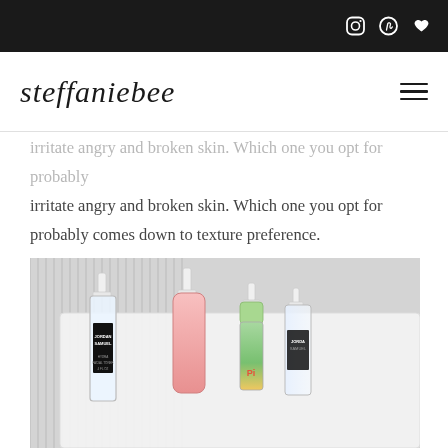steffaniebee — navigation with social icons (Instagram, Pinterest, Heart/Bloglovin)
irritate angry and broken skin. Which one you opt for probably comes down to texture preference.
[Figure (photo): Flatlay photo of several facial mist/toner bottles including Jordan Samuel and Pixi products arranged on a white tray with a grey towel in the background]